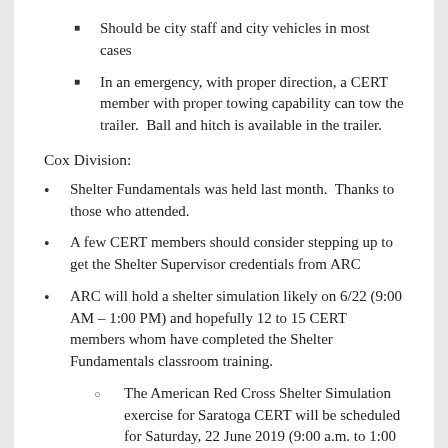Should be city staff and city vehicles in most cases
In an emergency, with proper direction, a CERT member with proper towing capability can tow the trailer.  Ball and hitch is available in the trailer.
Cox Division:
Shelter Fundamentals was held last month.  Thanks to those who attended.
A few CERT members should consider stepping up to get the Shelter Supervisor credentials from ARC
ARC will hold a shelter simulation likely on 6/22 (9:00 AM – 1:00 PM) and hopefully 12 to 15 CERT members whom have completed the Shelter Fundamentals classroom training.
The American Red Cross Shelter Simulation exercise for Saratoga CERT will be scheduled for Saturday, 22 June 2019 (9:00 a.m. to 1:00 p.m.) with Jim Mollerus, the ARC Silicon Valley Chapter Mass Care Coordinator. The desired number of Saratoga CERT participants is between